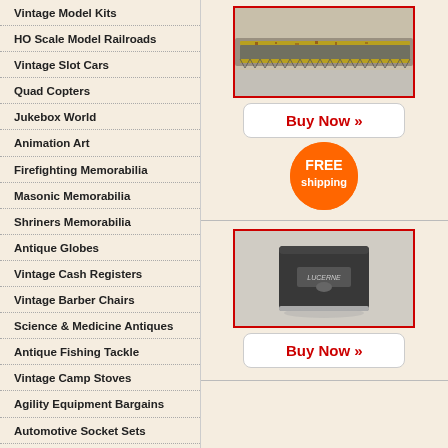Vintage Model Kits
HO Scale Model Railroads
Vintage Slot Cars
Quad Copters
Jukebox World
Animation Art
Firefighting Memorabilia
Masonic Memorabilia
Shriners Memorabilia
Antique Globes
Vintage Cash Registers
Vintage Barber Chairs
Science & Medicine Antiques
Antique Fishing Tackle
Vintage Camp Stoves
Agility Equipment Bargains
Automotive Socket Sets
Snowboards & Snowboarding Gear
Snowmobiles & Snowmobile Parts
Reloading Equipment
[Figure (photo): Close-up photo of a vintage saw blade or metal tool with yellow paint and rust, on a silver background, framed with red border]
Buy Now »
[Figure (illustration): Orange circle badge with white text reading FREE shipping]
[Figure (photo): Photo of a dark grey box/case with a logo on top, possibly a Lucerne brand item, on a light background, framed with red border]
Buy Now »